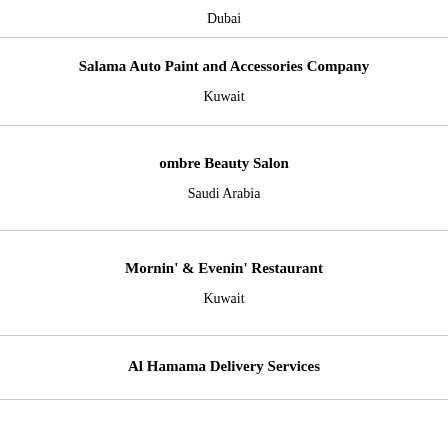Dubai
Salama Auto Paint and Accessories Company
Kuwait
ombre Beauty Salon
Saudi Arabia
Mornin' & Evenin' Restaurant
Kuwait
Al Hamama Delivery Services